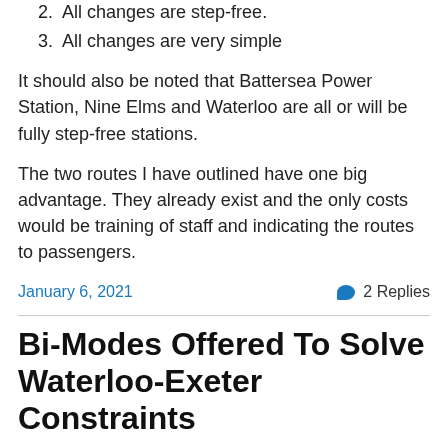2. All changes are step-free.
3. All changes are very simple
It should also be noted that Battersea Power Station, Nine Elms and Waterloo are all or will be fully step-free stations.
The two routes I have outlined have one big advantage. They already exist and the only costs would be training of staff and indicating the routes to passengers.
January 6, 2021    💬 2 Replies
Bi-Modes Offered To Solve Waterloo-Exeter Constraints
The title of this post is the same as an article by Richard